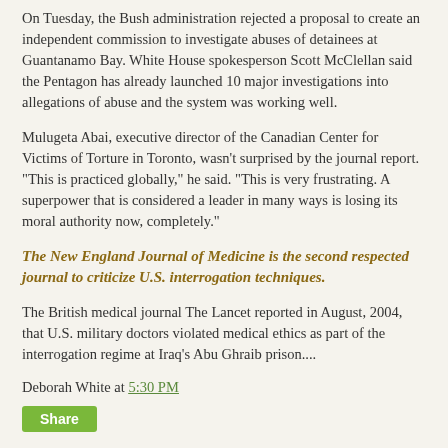On Tuesday, the Bush administration rejected a proposal to create an independent commission to investigate abuses of detainees at Guantanamo Bay. White House spokesperson Scott McClellan said the Pentagon has already launched 10 major investigations into allegations of abuse and the system was working well.
Mulugeta Abai, executive director of the Canadian Center for Victims of Torture in Toronto, wasn't surprised by the journal report. "This is practiced globally," he said. "This is very frustrating. A superpower that is considered a leader in many ways is losing its moral authority now, completely."
The New England Journal of Medicine is the second respected journal to criticize U.S. interrogation techniques.
The British medical journal The Lancet reported in August, 2004, that U.S. military doctors violated medical ethics as part of the interrogation regime at Iraq's Abu Ghraib prison....
Deborah White at 5:30 PM
Share